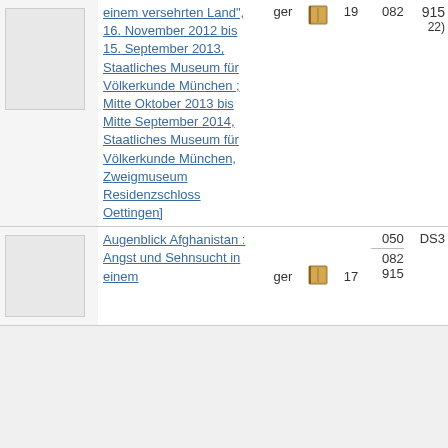| thumbnail | title | lang | icon | num1 | num2 | num3 |
| --- | --- | --- | --- | --- | --- | --- |
| [image] | einem versehrten Land", 16. November 2012 bis 15. September 2013, Staatliches Museum für Völkerkunde München ; Mitte Oktober 2013 bis Mitte September 2014, Staatliches Museum für Völkerkunde München, Zweigmuseum Residenzschloss Oettingen] | ger | [icon] | 19 | 082 | 915
22) |
| [image] | Augenblick Afghanistan : Angst und Sehnsucht in einem | ger | [icon] | 17 | 050
082
915 | DS3... |